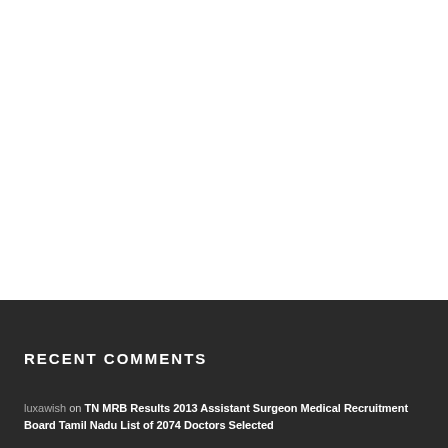RECENT COMMENTS
luxawish on TN MRB Results 2013 Assistant Surgeon Medical Recruitment Board Tamil Nadu List of 2074 Doctors Selected